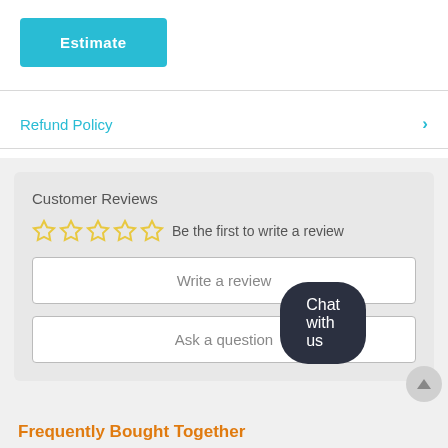[Figure (other): Estimate button — teal/cyan rounded rectangle button with white bold text 'Estimate']
Refund Policy
Customer Reviews
Be the first to write a review
Write a review
Ask a question
Chat with us
Frequently Bought Together